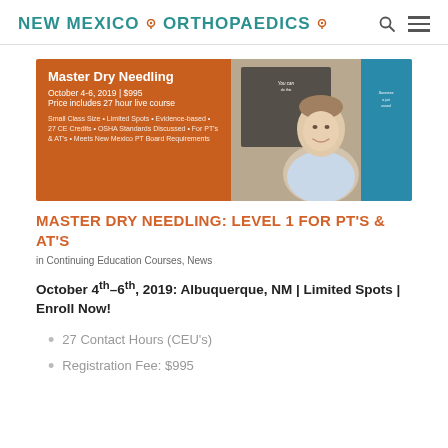NEW MEXICO ORTHOPAEDICS
[Figure (photo): Banner image for Master Dry Needling course. Orange left panel with white text: 'Master Dry Needling, October 4-6, 2019 | $995, Price includes 27 hour live course, Small Class Size • Limited Spots • Evidence-based • 27 CE Credits • OSHA Standards Discussed • For PT's & AT's • Meets New Mexico PT Board Requirements'. Right panel shows a smiling man in a light blue shirt with a blue poster board in background.]
MASTER DRY NEEDLING: LEVEL 1 FOR PT'S & AT'S
in Continuing Education Courses, News
October 4th–6th, 2019: Albuquerque, NM | Limited Spots | Enroll Now!
27 Contact Hours (CEU's)
Registration Fee: $995